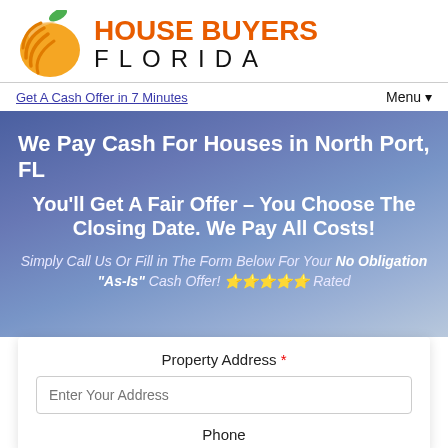[Figure (logo): House Buyers Florida logo with orange fruit icon, orange bold HOUSE BUYERS text and black FLORIDA text in wide letter-spacing]
Get A Cash Offer in 7 Minutes
Menu ▾
We Pay Cash For Houses in North Port, FL
You'll Get A Fair Offer – You Choose The Closing Date. We Pay All Costs!
Simply Call Us Or Fill in The Form Below For Your No Obligation "As-Is" Cash Offer! ★★★★★ Rated
Property Address *
Enter Your Address
Phone